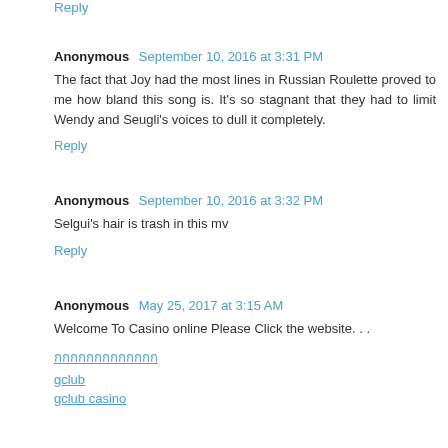Reply
Anonymous  September 10, 2016 at 3:31 PM
The fact that Joy had the most lines in Russian Roulette proved to me how bland this song is. It's so stagnant that they had to limit Wendy and Seugli's voices to dull it completely.
Reply
Anonymous  September 10, 2016 at 3:32 PM
Selgui's hair is trash in this mv
Reply
Anonymous  May 25, 2017 at 3:15 AM
Welcome To Casino online Please Click the website. . .
กกกกกกกกกกกกก
gclub
gclub casino